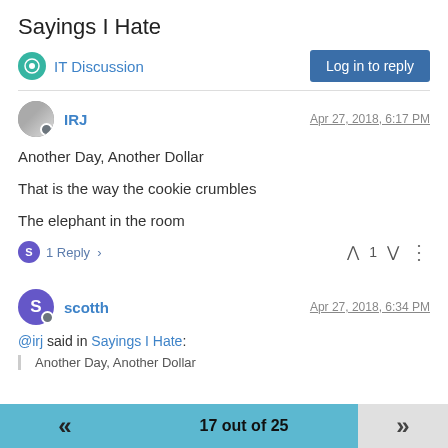Sayings I Hate
IT Discussion
Log in to reply
IRJ
Apr 27, 2018, 6:17 PM
Another Day, Another Dollar
That is the way the cookie crumbles
The elephant in the room
1 Reply >
^ 1 v
scotth
Apr 27, 2018, 6:34 PM
@irj said in Sayings I Hate:
Another Day, Another Dollar
17 out of 25